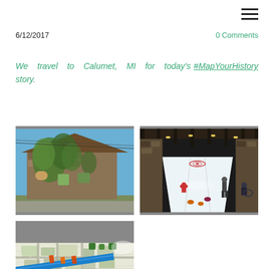≡
6/12/2017   0 Comments
We travel to Calumet, MI for today's #MapYourHistory story.
[Figure (photo): Ivy-covered stone building exterior on a sunny day with blue sky background]
[Figure (photo): Indoor curling rink with several players on ice lanes, industrial stone walls and overhead lighting]
[Figure (photo): Aerial or close-up map view with colorful markings and a blue line/ruler]